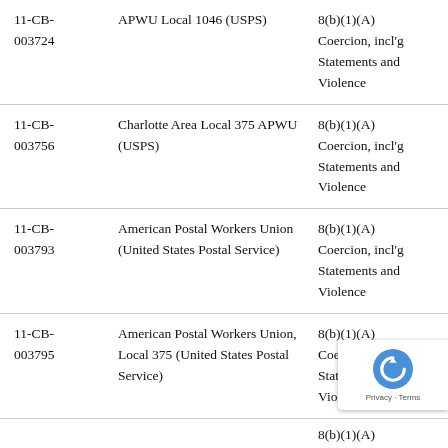| 11-CB-003724 | APWU Local 1046 (USPS) | 8(b)(1)(A) Coercion, incl'g Statements and Violence |
| 11-CB-003756 | Charlotte Area Local 375 APWU (USPS) | 8(b)(1)(A) Coercion, incl'g Statements and Violence |
| 11-CB-003793 | American Postal Workers Union (United States Postal Service) | 8(b)(1)(A) Coercion, incl'g Statements and Violence |
| 11-CB-003795 | American Postal Workers Union, Local 375 (United States Postal Service) | 8(b)(1)(A) Coercion, incl'g Statements and Violence |
|  |  | 8(b)(1)(A) |